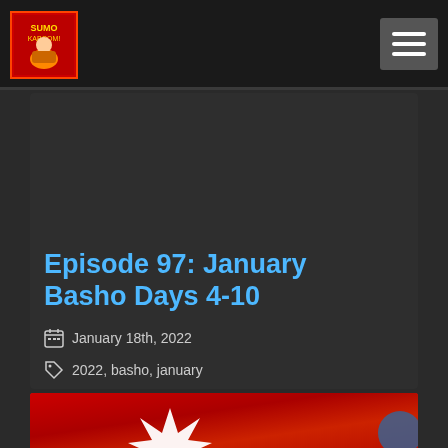Sumo Kaboom! [logo] — navigation bar with hamburger menu
Episode 97: January Basho Days 4-10
January 18th, 2022
2022, basho, january
[Figure (photo): Red background with white starburst/explosion graphic — partial image strip at bottom of card]